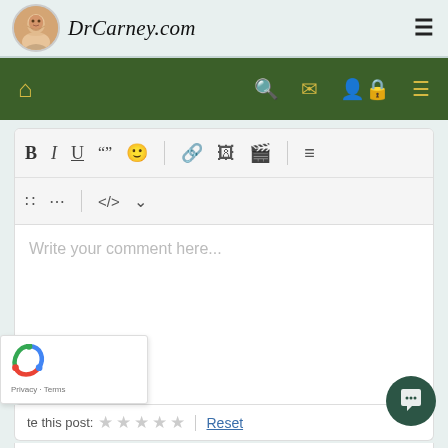DrCarney.com
[Figure (screenshot): Navigation bar with home icon and right-side icons: search, envelope, user-lock, menu]
[Figure (screenshot): Comment editor toolbar with Bold, Italic, Underline, quote, emoji, link, image, video, list, numbered list, ellipsis, code, chevron buttons]
Write your comment here...
Rate this post:  ☆ ☆ ☆ ☆ ☆  |  Reset
Share Location